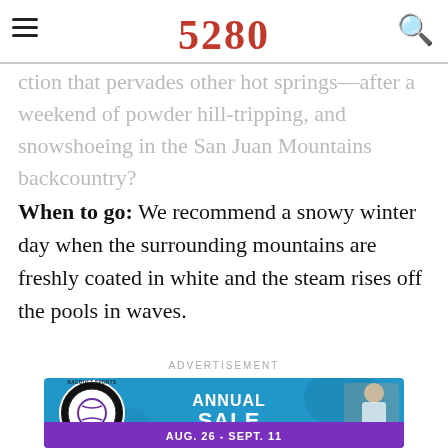5280
ction that pervades other hot springs—after a weekend of powder hill-tripping, and snowshoeing in the San Juan Mountains backcountry?
When to go: We recommend a snowy winter day when the surrounding mountains are freshly coated in white and the steam rises off the pools in waves.
ADVERTISEMENT
[Figure (illustration): Advertisement banner for Game Set Match Inc. Racquet Sports Annual Sale, Aug. 26 - Sept. 11, 25% off, featuring a female tennis player on a blue background with purple banner at bottom.]